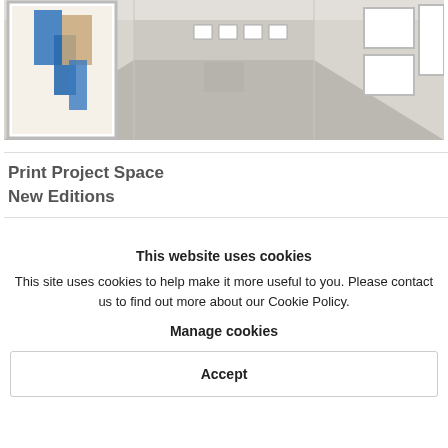[Figure (photo): Interior view of an art gallery corridor with white walls, framed artworks, and wooden floor. A large framed artwork with blue and beige abstract figures is visible on the left wall.]
Print Project Space
New Editions
This website uses cookies
This site uses cookies to help make it more useful to you. Please contact us to find out more about our Cookie Policy.
Manage cookies
Accept